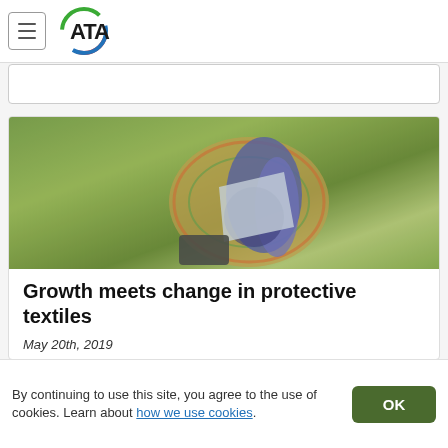[Figure (logo): ATA organization logo — circular logo with red, green, and blue arcs around the letters ATA in bold black]
[Figure (photo): Outdoor photo of a person in colorful patterned clothing holding or sorting blue/purple textile fabrics on green grass]
Growth meets change in protective textiles
May 20th, 2019
Innovating and commercializing to participate in future opportunities. by Seshadri Ramkumar Towelie™ is said to be the first biodegradable oil
By continuing to use this site, you agree to the use of cookies. Learn about how we use cookies.